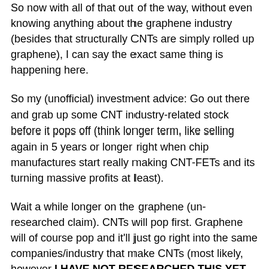So now with all of that out of the way, without even knowing anything about the graphene industry (besides that structurally CNTs are simply rolled up graphene), I can say the exact same thing is happening here.
So my (unofficial) investment advice: Go out there and grab up some CNT industry-related stock before it pops off (think longer term, like selling again in 5 years or longer right when chip manufactures start really making CNT-FETs and its turning massive profits at least).
Wait a while longer on the graphene (un-researched claim). CNTs will pop first. Graphene will of course pop and it'll just go right into the same companies/industry that make CNTs (most likely, however I HAVE NOT RESEARCHED THIS YET, SO GRAIN OF SALT ON THAT). I'll look into other